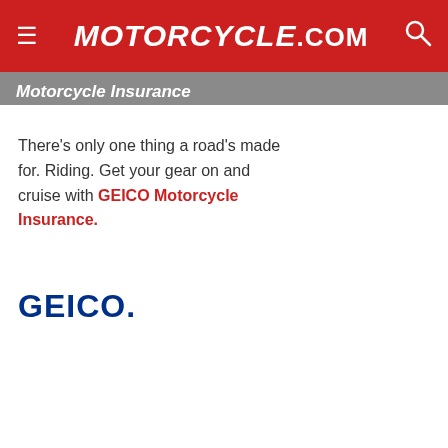Motorcycle.com
Motorcycle Insurance
There’s only one thing a road’s made for. Riding. Get your gear on and cruise with GEICO Motorcycle Insurance.
[Figure (logo): GEICO logo in blue bold text]
Motorcycle Financing
Financing is one way to purchase a new motorcycle. There are various lenders available, as well as factory financing. You can receive fast free online quotes,
Motorcycle Loans
[Figure (other): reCAPTCHA badge]
[Figure (photo): KTM Break Loose advertisement banner: motorcycles riding on mountain road, text reads BREAK LOOSE, NO PAYMENTS NO INTEREST FOR 60 DAYS, KTM logo on orange background]